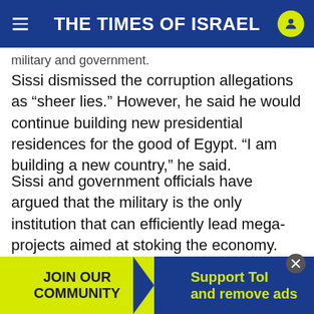THE TIMES OF ISRAEL
military and government.
Sissi dismissed the corruption allegations as “sheer lies.” However, he said he would continue building new presidential residences for the good of Egypt. “I am building a new country,” he said.
Sissi and government officials have argued that the military is the only institution that can efficiently lead mega-projects aimed at stoking the economy. The president has repeatedly warned that protests risk causing chaos that would disrupt efforts at repairing the country.
[Figure (infographic): Ad banner with yellow background on left reading JOIN OUR COMMUNITY and blue background on right reading Support ToI and remove ads]